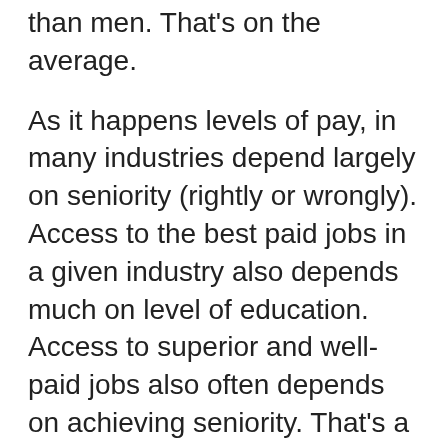than men. That's on the average.
As it happens levels of pay, in many industries depend largely on seniority (rightly or wrongly). Access to the best paid jobs in a given industry also depends much on level of education. Access to superior and well-paid jobs also often depends on achieving seniority. That's a double-whammy on low education!
Answer to the question near the beginning of this essay: If women who had no college dropped out of the workforce, female workers would, on the average, suddenly have higher educational achievement. Then, the average pay of women nation-